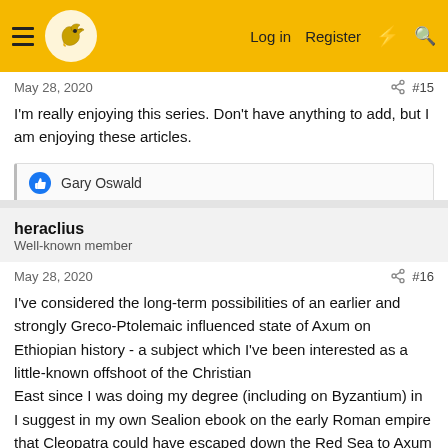heraclius forum page with Log in, Register, and search
May 28, 2020  #15
I'm really enjoying this series. Don't have anything to add, but I am enjoying these articles.
Gary Oswald
heraclius
Well-known member
May 28, 2020  #16
I've considered the long-term possibilities of an earlier and strongly Greco-Ptolemaic influenced state of Axum on Ethiopian history - a subject which I've been interested as a little-known offshoot of the Christian
East since I was doing my degree (including on Byzantium) in the late 1970s. The presence of the Axumite state in the Yemen in the 520s and its subsequent extension of influence close to Mecca in the era of the creation of Islam also has potential long-term consequences.
I suggest in my own Sealion ebook on the early Roman empire that Cleopatra could have escaped down the Red Sea to Axum or the Yemen and set up a Ptolemaic state in exile there - and in OTL she did send out a small force towards